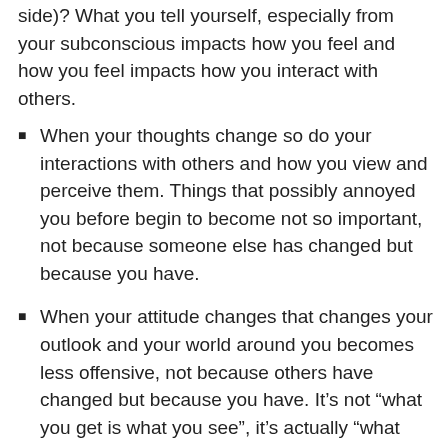side)? What you tell yourself, especially from your subconscious impacts how you feel and how you feel impacts how you interact with others.
When your thoughts change so do your interactions with others and how you view and perceive them. Things that possibly annoyed you before begin to become not so important, not because someone else has changed but because you have.
When your attitude changes that changes your outlook and your world around you becomes less offensive, not because others have changed but because you have. It’s not “what you get is what you see”, it’s actually “what you see is what you get”.
I’m not going to lie, it’s hard to change your thinking